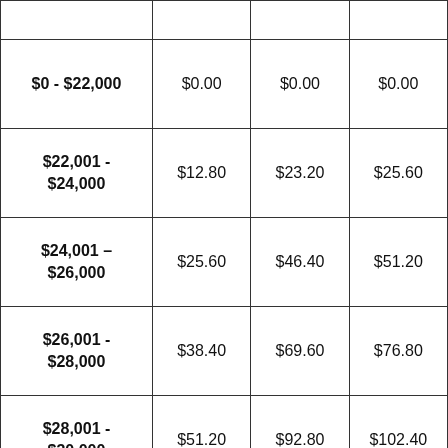|  |  |  |  |
| --- | --- | --- | --- |
| $0 - $22,000 | $0.00 | $0.00 | $0.00 |
| $22,001 - $24,000 | $12.80 | $23.20 | $25.60 |
| $24,001 – $26,000 | $25.60 | $46.40 | $51.20 |
| $26,001 - $28,000 | $38.40 | $69.60 | $76.80 |
| $28,001 - $30,000 | $51.20 | $92.80 | $102.40 |